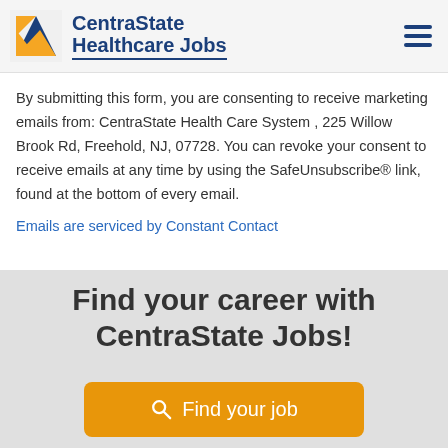CentraState Healthcare Jobs
By submitting this form, you are consenting to receive marketing emails from: CentraState Health Care System , 225 Willow Brook Rd, Freehold, NJ, 07728. You can revoke your consent to receive emails at any time by using the SafeUnsubscribe® link, found at the bottom of every email. Emails are serviced by Constant Contact
Find your career with CentraState Jobs!
Find your job